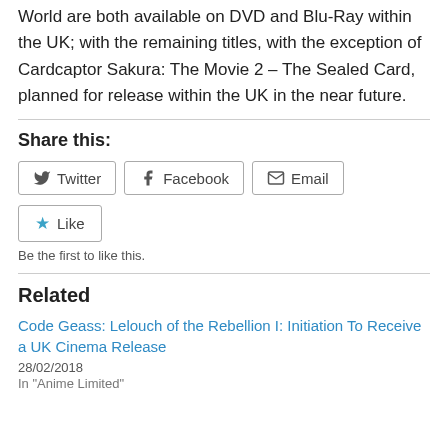World are both available on DVD and Blu-Ray within the UK; with the remaining titles, with the exception of Cardcaptor Sakura: The Movie 2 – The Sealed Card, planned for release within the UK in the near future.
Share this:
[Figure (other): Social share buttons: Twitter, Facebook, Email; Like button with star icon; 'Be the first to like this.' text]
Related
Code Geass: Lelouch of the Rebellion I: Initiation To Receive a UK Cinema Release
28/02/2018
In "Anime Limited"